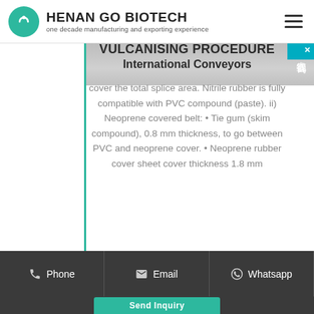HENAN GO BIOTECH — one decade manufacturing and exporting experience
[Figure (photo): Partial grayscale image showing a surface, top strip]
VULCANISING PROCEDURE
International Conveyors
cover the total splice area. Nitrile rubber is fully compatible with PVC compound (paste). ii) Neoprene covered belt: • Tie gum (skim compound), 0.8 mm thickness, to go between PVC and neoprene cover. • Neoprene rubber cover sheet cover thickness 1.8 mm
Phone  Email  Whatsapp  Send Inquiry